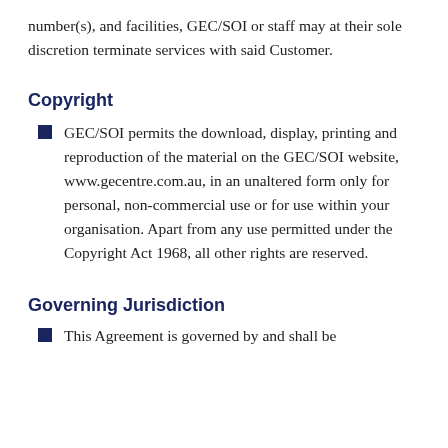number(s), and facilities, GEC/SOI or staff may at their sole discretion terminate services with said Customer.
Copyright
GEC/SOI permits the download, display, printing and reproduction of the material on the GEC/SOI website, www.gecentre.com.au, in an unaltered form only for personal, non-commercial use or for use within your organisation. Apart from any use permitted under the Copyright Act 1968, all other rights are reserved.
Governing Jurisdiction
This Agreement is governed by and shall be